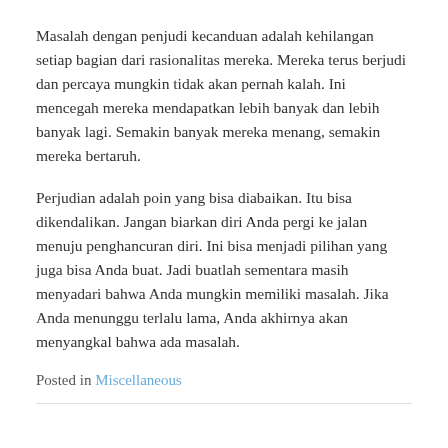Masalah dengan penjudi kecanduan adalah kehilangan setiap bagian dari rasionalitas mereka. Mereka terus berjudi dan percaya mungkin tidak akan pernah kalah. Ini mencegah mereka mendapatkan lebih banyak dan lebih banyak lagi. Semakin banyak mereka menang, semakin mereka bertaruh.
Perjudian adalah poin yang bisa diabaikan. Itu bisa dikendalikan. Jangan biarkan diri Anda pergi ke jalan menuju penghancuran diri. Ini bisa menjadi pilihan yang juga bisa Anda buat. Jadi buatlah sementara masih menyadari bahwa Anda mungkin memiliki masalah. Jika Anda menunggu terlalu lama, Anda akhirnya akan menyangkal bahwa ada masalah.
Posted in Miscellaneous